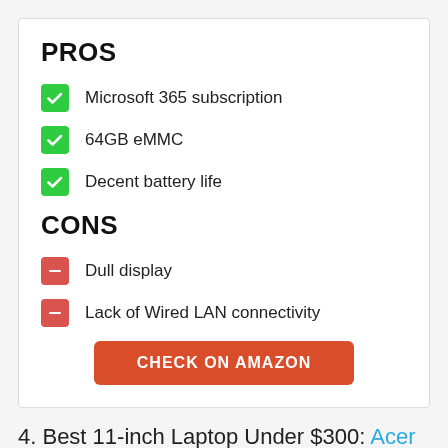PROS
Microsoft 365 subscription
64GB eMMC
Decent battery life
CONS
Dull display
Lack of Wired LAN connectivity
CHECK ON AMAZON
4. Best 11-inch Laptop Under $300: Acer Chromebook Spin 311